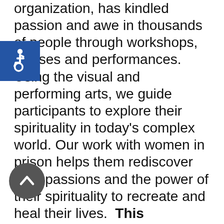organization, has kindled passion and awe in thousands of people through workshops, classes and performances. Using the visual and performing arts, we guide participants to explore their spirituality in today's complex world. Our work with women in prison helps them rediscover their passions and the power of their spirituality to recreate and heal their lives. This workshop is being offered as “pay what you can,” with a $20 suggested donation, and a $1 minimum donation. All revenue will be split between JAC and the visiting artist facilitators, to honor their creativity, passion, and commitment to creating these spaces. We greatly
[Figure (illustration): Blue accessibility wheelchair icon badge in top-left area]
[Figure (illustration): Dark circular up-arrow button in lower-left area]